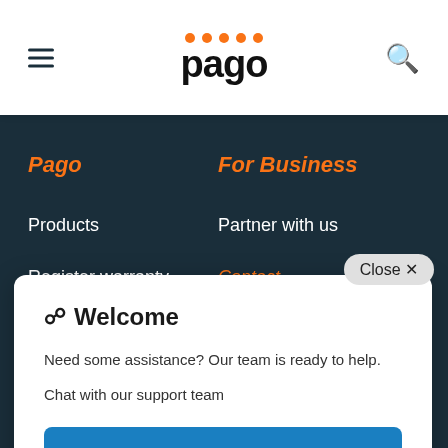pago
Pago
For Business
Products
Partner with us
Register warranty
Contact
Close ×
Welcome
Need some assistance? Our team is ready to help.
Chat with our support team
Chat with Support